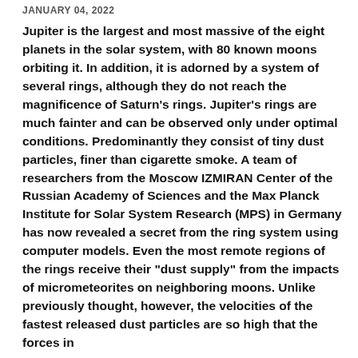JANUARY 04, 2022
Jupiter is the largest and most massive of the eight planets in the solar system, with 80 known moons orbiting it. In addition, it is adorned by a system of several rings, although they do not reach the magnificence of Saturn's rings. Jupiter's rings are much fainter and can be observed only under optimal conditions. Predominantly they consist of tiny dust particles, finer than cigarette smoke. A team of researchers from the Moscow IZMIRAN Center of the Russian Academy of Sciences and the Max Planck Institute for Solar System Research (MPS) in Germany has now revealed a secret from the ring system using computer models. Even the most remote regions of the rings receive their "dust supply" from the impacts of micrometeorites on neighboring moons. Unlike previously thought, however, the velocities of the fastest released dust particles are so high that the forces in